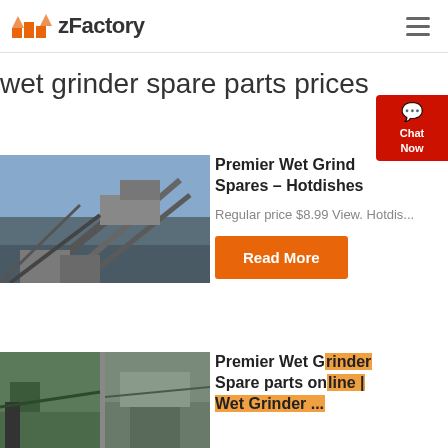zFactory
wet grinder spare parts prices
[Figure (photo): Industrial conveyor belt and mining/processing plant structure against blue sky]
Premier Wet Grinder Spares – Hotdishes
Regular price $8.99 View. Hotdis...
Read More
[Figure (photo): Two industrial equipment/conveyor system photos side by side]
Premier Wet Grinder Spare parts online | Wet Grinder ...